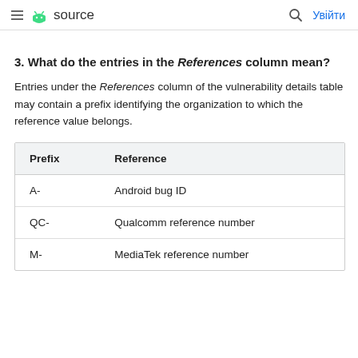≡ source   🔍 Увійти
3. What do the entries in the References column mean?
Entries under the References column of the vulnerability details table may contain a prefix identifying the organization to which the reference value belongs.
| Prefix | Reference |
| --- | --- |
| A- | Android bug ID |
| QC- | Qualcomm reference number |
| M- | MediaTek reference number |